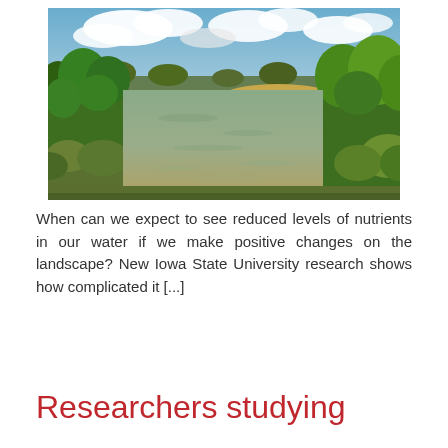[Figure (photo): A river scene with green trees and vegetation on both banks, calm brownish-green water in the center, a sandy bank visible in the background, and a partly cloudy blue sky above.]
When can we expect to see reduced levels of nutrients in our water if we make positive changes on the landscape? New Iowa State University research shows how complicated it [...]
Researchers studying